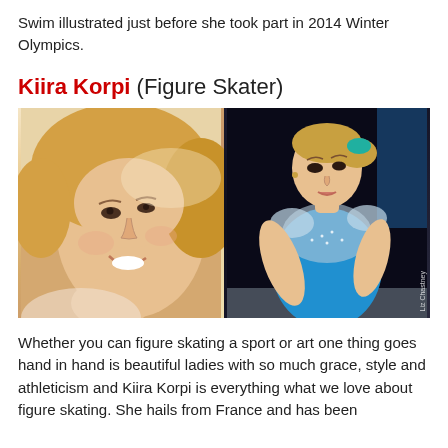Swim illustrated just before she took part in 2014 Winter Olympics.
Kiira Korpi (Figure Skater)
[Figure (photo): Two side-by-side photos of Kiira Korpi: left photo shows a smiling blonde woman in a casual portrait closeup; right photo shows her as a figure skater in a blue rhinestone costume, with photo credit to Liz Chastney]
Whether you can figure skating a sport or art one thing goes hand in hand is beautiful ladies with so much grace, style and athleticism and Kiira Korpi is everything what we love about figure skating. She hails from France and has been